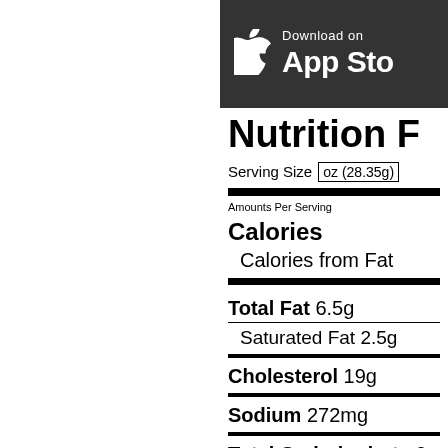[Figure (logo): App Store download badge - partial view, dark background with Apple logo, 'Download on the App Store' text]
Nutrition F
Serving Size oz (28.35g)
Amounts Per Serving
Calories
Calories from Fat
Total Fat 6.5g
Saturated Fat 2.5g
Cholesterol 19g
Sodium 272mg
Total Carbohydrate 0g
Fiber 0g